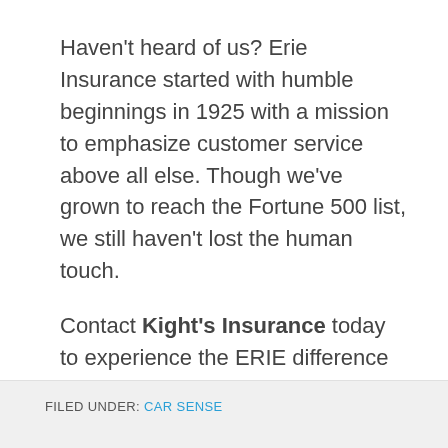Haven't heard of us? Erie Insurance started with humble beginnings in 1925 with a mission to emphasize customer service above all else. Though we've grown to reach the Fortune 500 list, we still haven't lost the human touch.
Contact Kight's Insurance today to experience the ERIE difference for yourself.
FILED UNDER: CAR SENSE